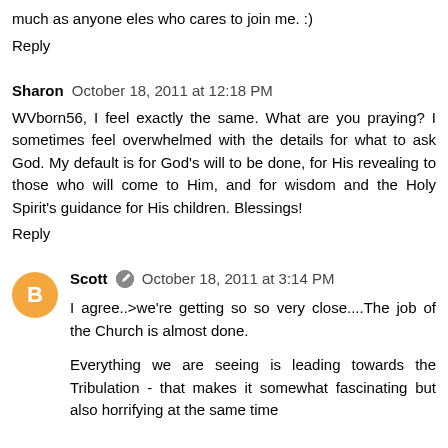much as anyone eles who cares to join me. :)
Reply
Sharon   October 18, 2011 at 12:18 PM
WVborn56, I feel exactly the same. What are you praying? I sometimes feel overwhelmed with the details for what to ask God. My default is for God's will to be done, for His revealing to those who will come to Him, and for wisdom and the Holy Spirit's guidance for His children. Blessings!
Reply
Scott   October 18, 2011 at 3:14 PM
I agree..>we're getting so so very close....The job of the Church is almost done.
Everything we are seeing is leading towards the Tribulation - that makes it somewhat fascinating but also horrifying at the same time